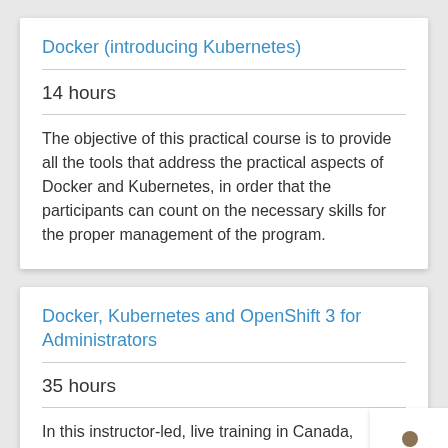Docker (introducing Kubernetes)
14 hours
The objective of this practical course is to provide all the tools that address the practical aspects of Docker and Kubernetes, in order that the participants can count on the necessary skills for the proper management of the program.
Docker, Kubernetes and OpenShift 3 for Administrators
35 hours
In this instructor-led, live training in Canada,
[Figure (illustration): Person/user avatar icon showing a silhouette of a person with brown head and green body on white background]